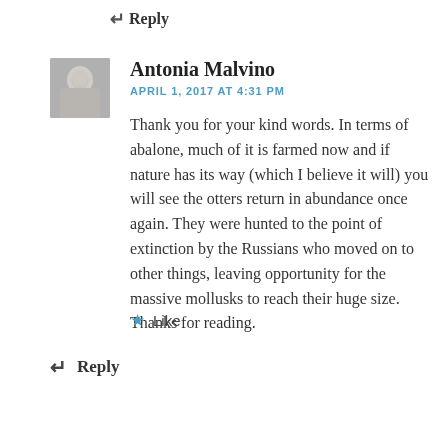↵ Reply
[Figure (photo): Small grayscale avatar photo of Antonia Malvino]
Antonia Malvino
APRIL 1, 2017 AT 4:31 PM
Thank you for your kind words. In terms of abalone, much of it is farmed now and if nature has its way (which I believe it will) you will see the otters return in abundance once again. They were hunted to the point of extinction by the Russians who moved on to other things, leaving opportunity for the massive mollusks to reach their huge size. Thanks for reading.
★ Like
↵ Reply